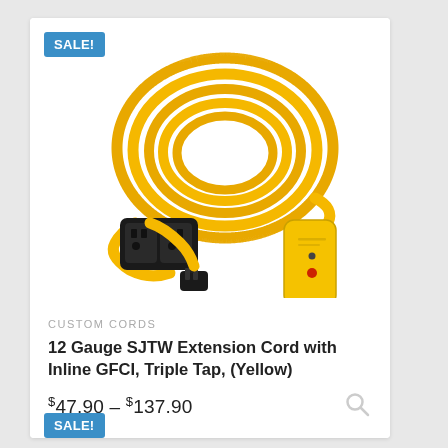SALE!
[Figure (photo): Yellow 12 gauge SJTW extension cord coiled up with inline GFCI box, triple tap receptacle end (black), and standard plug end (black)]
CUSTOM CORDS
12 Gauge SJTW Extension Cord with Inline GFCI, Triple Tap, (Yellow)
$47.90 – $137.90
SALE!